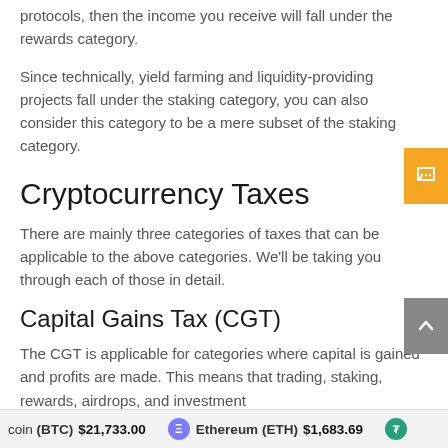protocols, then the income you receive will fall under the rewards category.
Since technically, yield farming and liquidity-providing projects fall under the staking category, you can also consider this category to be a mere subset of the staking category.
Cryptocurrency Taxes
There are mainly three categories of taxes that can be applicable to the above categories. We'll be taking you through each of those in detail.
Capital Gains Tax (CGT)
The CGT is applicable for categories where capital is gained and profits are made. This means that trading, staking, rewards, airdrops, and investment
coin (BTC) $21,733.00   Ethereum (ETH) $1,683.69